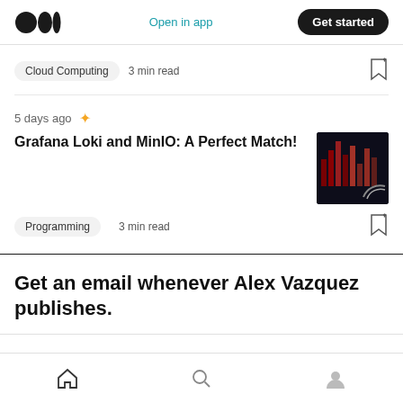Open in app   Get started
Cloud Computing   3 min read
5 days ago
Grafana Loki and MinIO: A Perfect Match!
Programming   3 min read
Get an email whenever Alex Vazquez publishes.
Home  Search  Profile